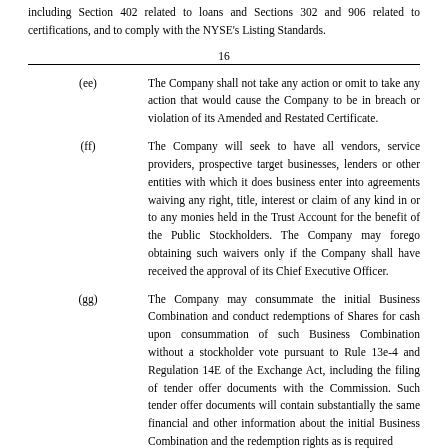including Section 402 related to loans and Sections 302 and 906 related to certifications, and to comply with the NYSE’s Listing Standards.
16
(ee)      The Company shall not take any action or omit to take any action that would cause the Company to be in breach or violation of its Amended and Restated Certificate.
(ff)      The Company will seek to have all vendors, service providers, prospective target businesses, lenders or other entities with which it does business enter into agreements waiving any right, title, interest or claim of any kind in or to any monies held in the Trust Account for the benefit of the Public Stockholders. The Company may forego obtaining such waivers only if the Company shall have received the approval of its Chief Executive Officer.
(gg)      The Company may consummate the initial Business Combination and conduct redemptions of Shares for cash upon consummation of such Business Combination without a stockholder vote pursuant to Rule 13e-4 and Regulation 14E of the Exchange Act, including the filing of tender offer documents with the Commission. Such tender offer documents will contain substantially the same financial and other information about the initial Business Combination and the redemption rights as is required